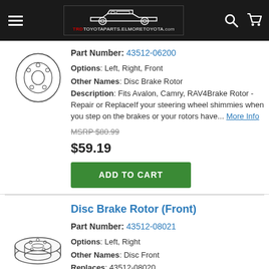TRD TOYOTAPARTS.ELMORETOYOTA.com
Part Number: 43512-06200
Options: Left, Right, Front
Other Names: Disc Brake Rotor
Description: Fits Avalon, Camry, RAV4Brake Rotor - Repair or ReplaceIf your steering wheel shimmies when you step on the brakes or your rotors have... More Info
MSRP $80.99
$59.19
ADD TO CART
Disc Brake Rotor (Front)
Part Number: 43512-08021
Options: Left, Right
Other Names: Disc Front
Replaces: 43512-08020
Description: Fits SiennaBrake Rotor - Repair or